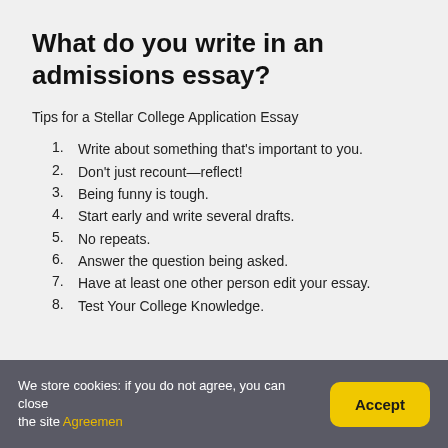What do you write in an admissions essay?
Tips for a Stellar College Application Essay
1. Write about something that's important to you.
2. Don't just recount—reflect!
3. Being funny is tough.
4. Start early and write several drafts.
5. No repeats.
6. Answer the question being asked.
7. Have at least one other person edit your essay.
8. Test Your College Knowledge.
We store cookies: if you do not agree, you can close the site Agreemen  Accept